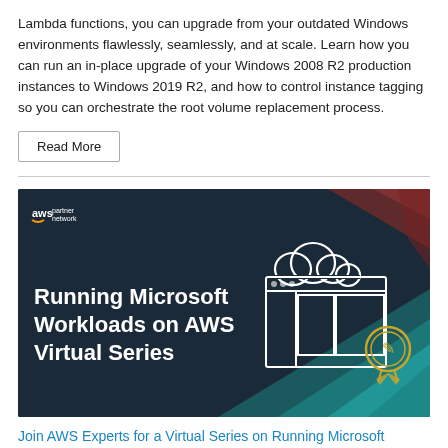Lambda functions, you can upgrade from your outdated Windows environments flawlessly, seamlessly, and at scale. Learn how you can run an in-place upgrade of your Windows 2008 R2 production instances to Windows 2019 R2, and how to control instance tagging so you can orchestrate the root volume replacement process.
Read More
[Figure (illustration): AWS Partner Network banner image with dark navy background showing 'Running Microsoft Workloads on AWS Virtual Series' text on left and a cloud/window illustration with a badge icon on the right, with geometric teal and dark red shapes.]
Join AWS Experts for a Virtual Series on Running Microsoft Workloads on AWS
by AWS Editorial Team | on 04 MAY 2020 | in AWS Partner Network, AWS